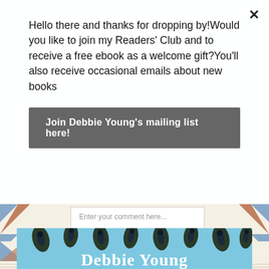Hello there and thanks for dropping by!Would you like to join my Readers' Club and to receive a free ebook as a welcome gift?You'll also receive occasional emails about new books
Join Debbie Young's mailing list here!
[Figure (screenshot): Comment input text area with placeholder text 'Enter your comment here...' overlaid on a decorative envelope-style stripe border background]
[Figure (photo): Book cover by Debbie Young showing peacock feathers on a light blue background with author name 'Debbie Young' in large white serif text at the bottom]